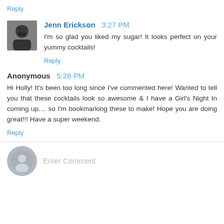Reply
Jenn Erickson 3:27 PM
I'm so glad you liked my sugar! It looks perfect on your yummy cocktails!
Reply
Anonymous 5:28 PM
Hi Holly! It's been too long since I've commented here! Wanted to tell you that these cocktails look so awesome & I have a Girl's Night In coming up.... so I'm bookmarking these to make! Hope you are doing great!!! Have a super weekend.
Reply
Enter Comment